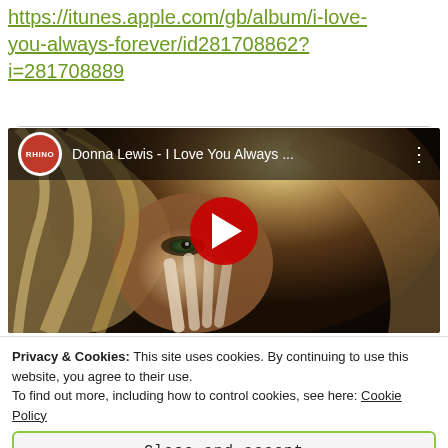https://itunes.apple.com/gb/album/i-love-you-always-forever/id281708862?i=281708889
[Figure (screenshot): YouTube video thumbnail showing Donna Lewis - I Love You Always ... with RHINO channel logo, video title bar, and red play button over a blonde woman image]
Privacy & Cookies: This site uses cookies. By continuing to use this website, you agree to their use.
To find out more, including how to control cookies, see here: Cookie Policy
Close and accept